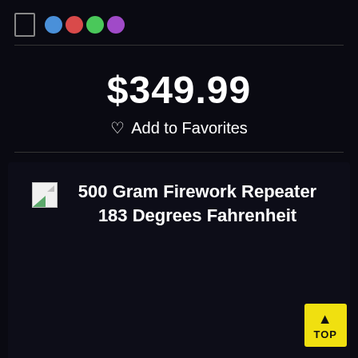[Figure (other): Navigation/UI bar with a square checkbox icon and four colored circles (blue, red, green, purple)]
$349.99
♡ Add to Favorites
[Figure (other): Product image placeholder (broken image icon) with product title: 500 Gram Firework Repeater 183 Degrees Fahrenheit]
TOP